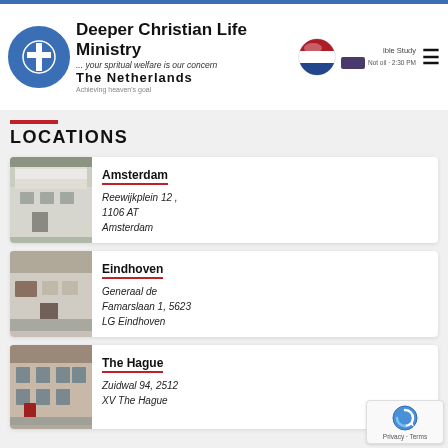Deeper Christian Life Ministry ... your spiritual welfare is our concern THE NETHERLANDS
LOCATIONS
[Figure (photo): Photo of Amsterdam church building exterior]
Amsterdam
Reewijkplein 12 , 1106 AT Amsterdam
[Figure (photo): Photo of Eindhoven church building exterior]
Eindhoven
Generaal de Famarslaan 1, 5623 LG Eindhoven
[Figure (photo): Photo of The Hague church building exterior]
The Hague
Zuidwal 94, 2512 XV The Hague